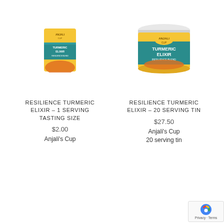[Figure (photo): Small single-serving packet of Resilience Turmeric Elixir with yellow and teal design]
[Figure (photo): Large 20-serving tin of Resilience Turmeric Elixir with yellow and teal design, white lid]
RESILIENCE TURMERIC ELIXIR – 1 SERVING TASTING SIZE
$2.00
Anjali's Cup
RESILIENCE TURMERIC ELIXIR – 20 SERVING TIN
$27.50
Anjali's Cup
20 serving tin